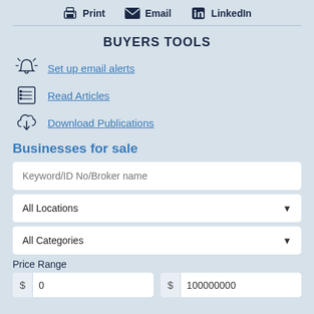Print | Email | LinkedIn
BUYERS TOOLS
Set up email alerts
Read Articles
Download Publications
Businesses for sale
Keyword/ID No/Broker name
All Locations
All Categories
Price Range
$ 0 ... $ 100000000